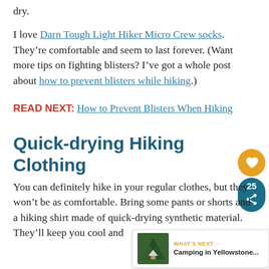dry.
I love Darn Tough Light Hiker Micro Crew socks. They’re comfortable and seem to last forever. (Want more tips on fighting blisters? I’ve got a whole post about how to prevent blisters while hiking.)
READ NEXT: How to Prevent Blisters When Hiking
Quick-drying Hiking Clothing
You can definitely hike in your regular clothes, but they won’t be as comfortable. Bring some pants or shorts and a hiking shirt made of quick-drying synthetic material. They’ll keep you cool and